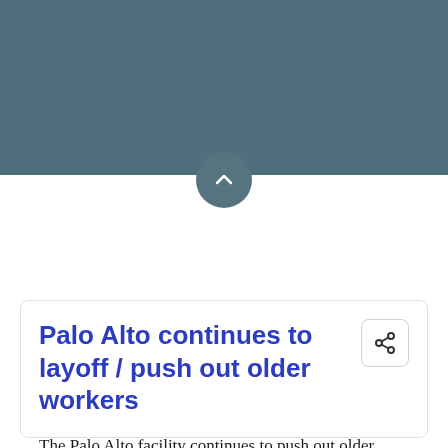[Figure (screenshot): Dark teal header banner at top of page with a circular chevron/collapse button at the bottom center of the banner]
Palo Alto continues to layoff / push out older workers
The Palo Alto facility continues to push out older